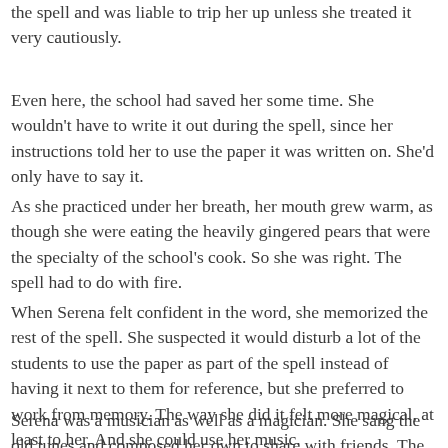the spell and was liable to trip her up unless she treated it very cautiously.
Even here, the school had saved her some time. She wouldn't have to write it out during the spell, since her instructions told her to use the paper it was written on. She'd only have to say it.
As she practiced under her breath, her mouth grew warm, as though she were eating the heavily gingered pears that were the specialty of the school's cook. So she was right. The spell had to do with fire.
When Serena felt confident in the word, she memorized the rest of the spell. She suspected it would disturb a lot of the students to use the paper as part of the spell instead of having it next to them for reference, but she preferred to work from memory. The way she did it felt more magical, at least to her. And she could use her music.
Serena was a musician as well as a magician. She sang the old tunes and composed her own to share with friends. The